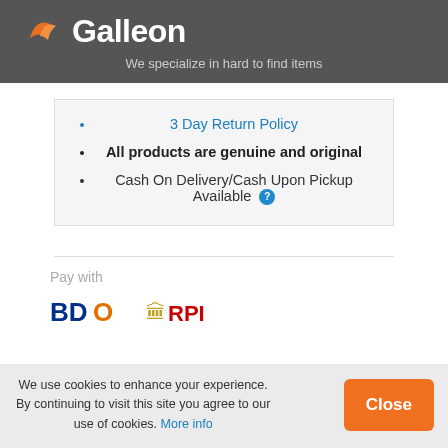Galleon - We specialize in hard to find items
3 Day Return Policy
All products are genuine and original
Cash On Delivery/Cash Upon Pickup Available
Pay with
[Figure (logo): BDO bank logo]
[Figure (logo): RPI logo]
We use cookies to enhance your experience. By continuing to visit this site you agree to our use of cookies. More info